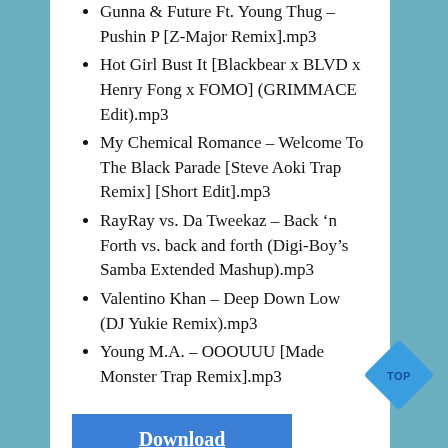Gunna & Future Ft. Young Thug – Pushin P [Z-Major Remix].mp3
Hot Girl Bust It [Blackbear x BLVD x Henry Fong x FOMO] (GRIMMACE Edit).mp3
My Chemical Romance – Welcome To The Black Parade [Steve Aoki Trap Remix] [Short Edit].mp3
RayRay vs. Da Tweekaz – Back 'n Forth vs. back and forth (Digi-Boy's Samba Extended Mashup).mp3
Valentino Khan – Deep Down Low (DJ Yukie Remix).mp3
Young M.A. – OOOUUU [Made Monster Trap Remix].mp3
Download